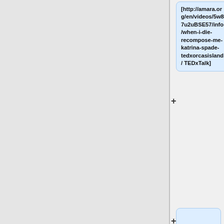[http://amara.org/en/videos/5w87u2uBSE57/info/when-i-die-recompose-me-katrina-spade-tedxorcasisland/ TEDxTalk]
'''Carina Morillo: Para entender el autismo, no quites la mirada'''
[http://amara.org/en/videos/wO1k4HafTkGE/info/para-entender-el-autismo-no-